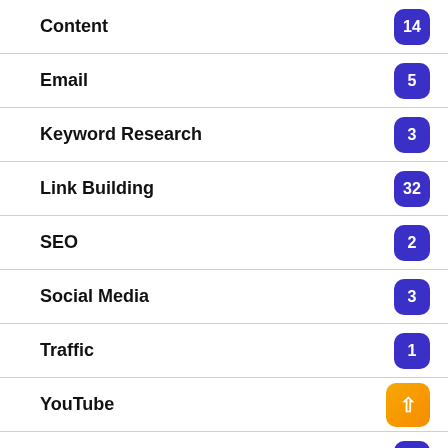Content
Email
Keyword Research
Link Building
SEO
Social Media
Traffic
YouTube
Ideas